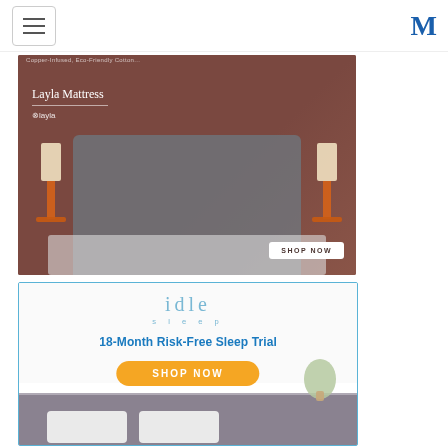Navigation header with hamburger menu and M logo
[Figure (photo): Layla Mattress advertisement: couple on bed with woman jumping, two orange lamps on nightstands. Brown background. Text reads 'Layla Mattress', Layla logo, and 'SHOP NOW' button.]
[Figure (photo): Idle Sleep advertisement: white background with teal 'idle sleep' logo, '18-Month Risk-Free Sleep Trial' headline, orange 'SHOP NOW' button, and bed with pillows at bottom. Blue border frame.]